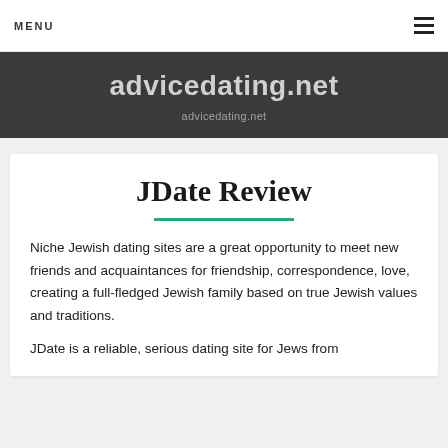MENU
advicedating.net
advicedating.net
JDate Review
Niche Jewish dating sites are a great opportunity to meet new friends and acquaintances for friendship, correspondence, love, creating a full-fledged Jewish family based on true Jewish values and traditions.
JDate is a reliable, serious dating site for Jews from